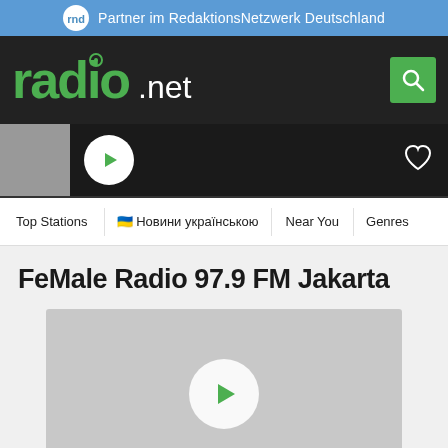Partner im RedaktionsNetzwerk Deutschland
[Figure (logo): radio.net logo in green with search button]
[Figure (screenshot): Radio player bar with gray station thumbnail, white play button, and heart icon]
Top Stations   🇺🇦 Новини українською   Near You   Genres
FeMale Radio 97.9 FM Jakarta
[Figure (screenshot): Gray station image placeholder with a green play button overlay]